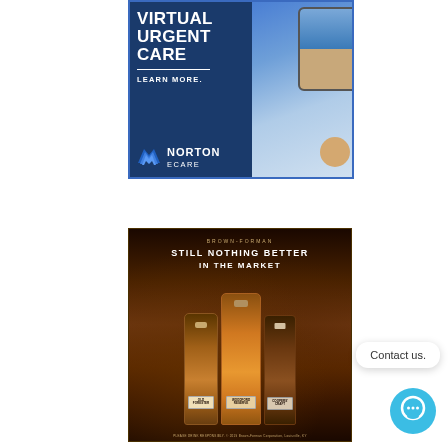[Figure (illustration): Norton eCare advertisement for Virtual Urgent Care with blue background, phone screen image showing telehealth, and Norton eCare logo with N chevron mark. Text: VIRTUAL URGENT CARE, LEARN MORE., Norton eCare]
[Figure (illustration): Brown-Forman whiskey advertisement with dark wood background. Text: STILL NOTHING BETTER IN THE MARKET. Shows three whiskey bottles: Old Forester, Woodford Reserve, Coopers' Craft. Disclaimer text at bottom.]
Contact us.